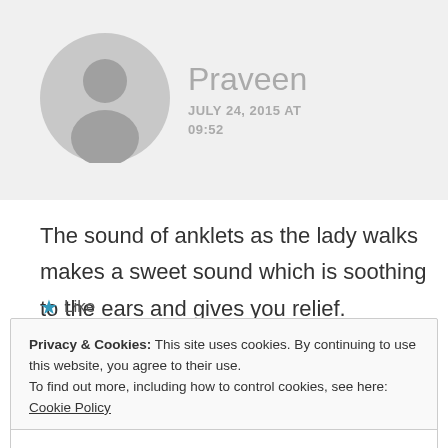[Figure (illustration): Gray circular avatar/profile placeholder icon]
Praveen
JULY 24, 2015 AT 09:52
The sound of anklets as the lady walks makes a sweet sound which is soothing to the ears and gives you relief.
★ Like
Privacy & Cookies: This site uses cookies. By continuing to use this website, you agree to their use.
To find out more, including how to control cookies, see here: Cookie Policy
Close and accept